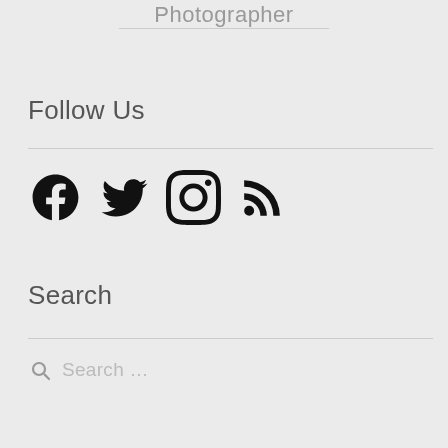Photographer
Follow Us
[Figure (illustration): Social media icons: Facebook, Twitter, Instagram, RSS feed]
Search
Search …